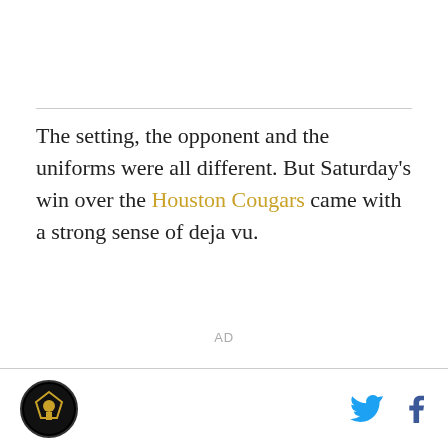The setting, the opponent and the uniforms were all different. But Saturday's win over the Houston Cougars came with a strong sense of deja vu.
[Figure (other): AD placeholder text centered on page]
[Figure (logo): circular logo in bottom left footer]